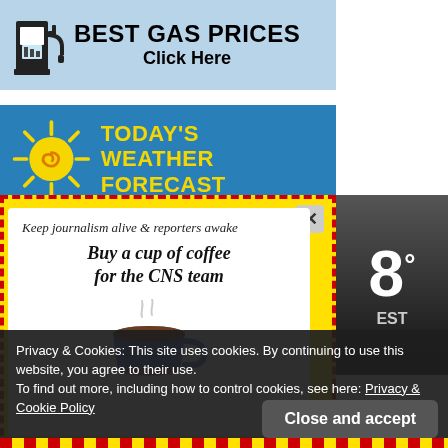[Figure (infographic): Best Gas Prices banner with gas pump icon and 'Click Here' text on light blue background]
[Figure (infographic): Today's Weather Forecast banner with sun graphic on blue background]
[Figure (infographic): Popup overlay on yellow dashed background: 'Keep journalism alive & reporters awake — Buy a cup of coffee for the CNS team' with coffee cup illustration. Close (x) button top right. Temperature display showing '8°' and 'ST' on dark background to the right.]
Privacy & Cookies: This site uses cookies. By continuing to use this website, you agree to their use.
To find out more, including how to control cookies, see here: Privacy & Cookie Policy
Close and accept